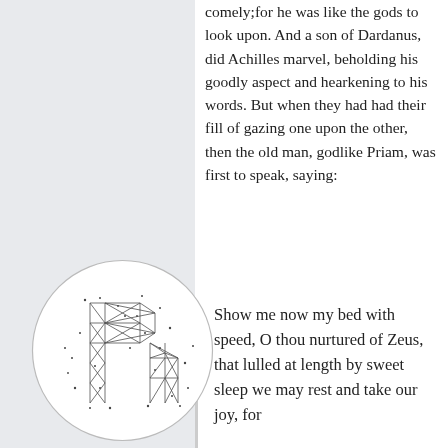comely;for he was like the gods to look upon. And a son of Dardanus, did Achilles marvel, beholding his goodly aspect and hearkening to his words. But when they had had their fill of gazing one upon the other, then the old man, godlike Priam, was first to speak, saying:
Show me now my bed with speed, O thou nurtured of Zeus, that lulled at length by sweet sleep we may rest and take our joy, for
[Figure (logo): A circular logo containing a geometric wireframe letter P made of triangular mesh lines with scattered dots, rendered in dark grey on white background]